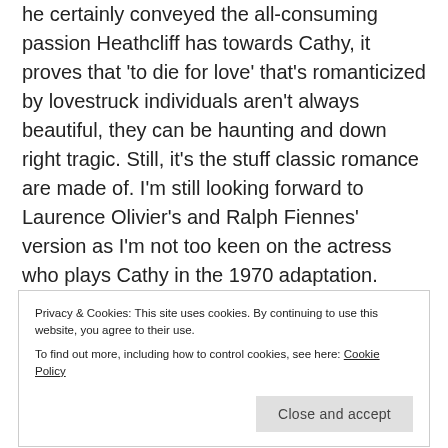he certainly conveyed the all-consuming passion Heathcliff has towards Cathy, it proves that 'to die for love' that's romanticized by lovestruck individuals aren't always beautiful, they can be haunting and down right tragic. Still, it's the stuff classic romance are made of. I'm still looking forward to Laurence Olivier's and Ralph Fiennes' version as I'm not too keen on the actress who plays Cathy in the 1970 adaptation. Most romantic scene: When
Privacy & Cookies: This site uses cookies. By continuing to use this website, you agree to their use. To find out more, including how to control cookies, see here: Cookie Policy
married to someone else